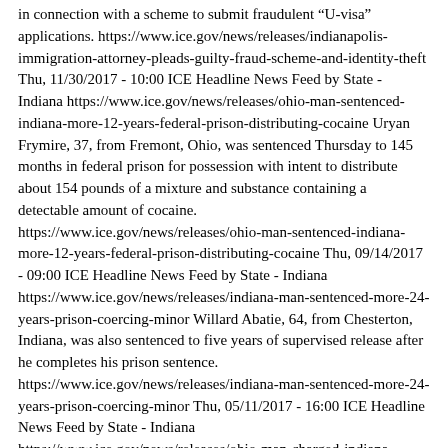in connection with a scheme to submit fraudulent “U-visa” applications. https://www.ice.gov/news/releases/indianapolis-immigration-attorney-pleads-guilty-fraud-scheme-and-identity-theft Thu, 11/30/2017 - 10:00 ICE Headline News Feed by State - Indiana https://www.ice.gov/news/releases/ohio-man-sentenced-indiana-more-12-years-federal-prison-distributing-cocaine Uryan Frymire, 37, from Fremont, Ohio, was sentenced Thursday to 145 months in federal prison for possession with intent to distribute about 154 pounds of a mixture and substance containing a detectable amount of cocaine.  https://www.ice.gov/news/releases/ohio-man-sentenced-indiana-more-12-years-federal-prison-distributing-cocaine Thu, 09/14/2017 - 09:00 ICE Headline News Feed by State - Indiana https://www.ice.gov/news/releases/indiana-man-sentenced-more-24-years-prison-coercing-minor Willard Abatie, 64, from Chesterton, Indiana, was also sentenced to five years of supervised release after he completes his prison sentence. https://www.ice.gov/news/releases/indiana-man-sentenced-more-24-years-prison-coercing-minor Thu, 05/11/2017 - 16:00 ICE Headline News Feed by State - Indiana https://www.ice.gov/news/releases/ohio-man-charged-indiana-possessing-more-5-kilos-cocaine Uryan Frymire, 37, of Ohio, was charged with possession with intent to distribute more than five kilograms of cocaine. https://www.ice.gov/news/releases/ohio-man-charged-indiana-possessing-more-5-kilos-cocaine Fri,